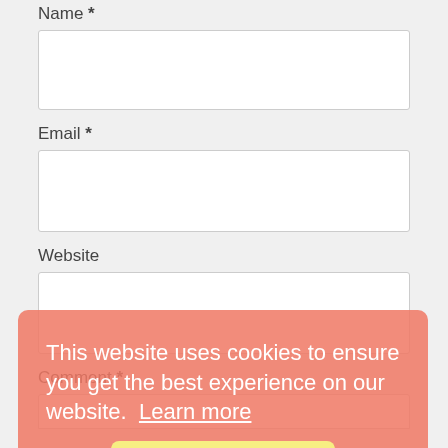Name *
Email *
Website
Comment *
[Figure (screenshot): Cookie consent banner with text 'This website uses cookies to ensure you get the best experience on our website. Learn more' and a 'Got it!' button in yellow on a salmon/coral background overlay.]